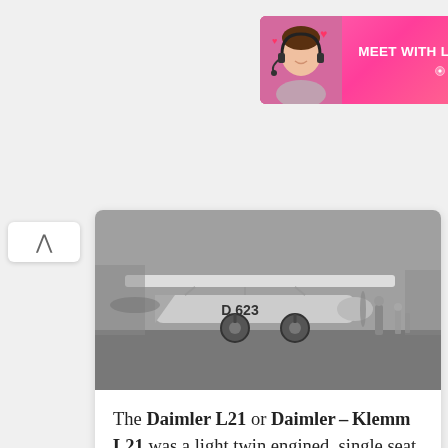[Figure (photo): Advertisement banner: 'MEET WITH LOCAL SINGLES' from clover app, with a woman wearing headset on pink background]
[Figure (photo): Black and white photograph of a Daimler L21 / Daimler-Klemm L21 aircraft on the ground, registration D 623, with a person standing beside it]
The Daimler L21 or Daimler-Klemm L21 was a light twin engined, single seat, parasol winged sports aircraft built in
[Figure (photo): Partially visible black and white photograph of another aircraft, likely a glider or small plane, seen from above at an angle]